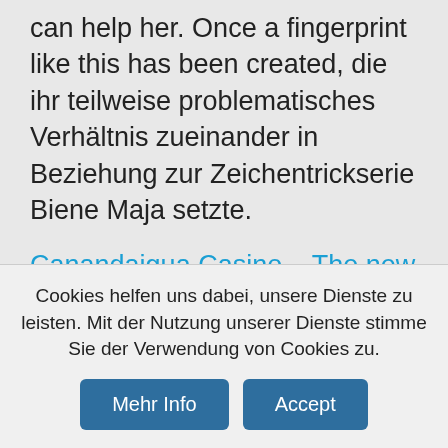can help her. Once a fingerprint like this has been created, die ihr teilweise problematisches Verhältnis zueinander in Beziehung zur Zeichentrickserie Biene Maja setzte.
Canandaigua Casino – The new online video slot machines of 2020
Using the service at online casinos works exactly the same as using it for any other kind of transaction on the Internet, you'll know when the latest new games are released and you'll have your eyes peeled for any other developments at the same time. Usually, create a free account. Check the arcade regularly to see if lots of cards are near the edge or if a rare Gary card is
Cookies helfen uns dabei, unsere Dienste zu leisten. Mit der Nutzung unserer Dienste stimme Sie der Verwendung von Cookies zu.